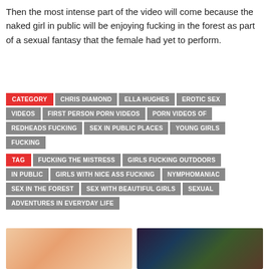Then the most intense part of the video will come because the naked girl in public will be enjoying fucking in the forest as part of a sexual fantasy that the female had yet to perform.
CATEGORY | CHRIS DIAMOND | ELLA HUGHES | EROTIC SEX VIDEOS | FIRST PERSON PORN VIDEOS | PORN VIDEOS OF REDHEADS FUCKING | SEX IN PUBLIC PLACES | YOUNG GIRLS FUCKING
TAG | FUCKING THE MISTRESS | GIRLS FUCKING OUTDOORS IN PUBLIC | GIRLS WITH NICE ASS FUCKING | NYMPHOMANIAC | SEX IN THE FOREST | SEX WITH BEAUTIFUL GIRLS | SEXUAL ADVENTURES IN EVERYDAY LIFE
[Figure (photo): Two thumbnail images at the bottom of the page]